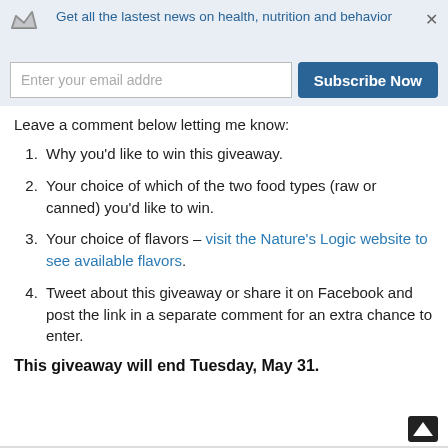Get all the lastest news on health, nutrition and behavior
Leave a comment below letting me know:
Why you'd like to win this giveaway.
Your choice of which of the two food types (raw or canned) you'd like to win.
Your choice of flavors – visit the Nature's Logic website to see available flavors.
Tweet about this giveaway or share it on Facebook and post the link in a separate comment for an extra chance to enter.
This giveaway will end Tuesday, May 31.